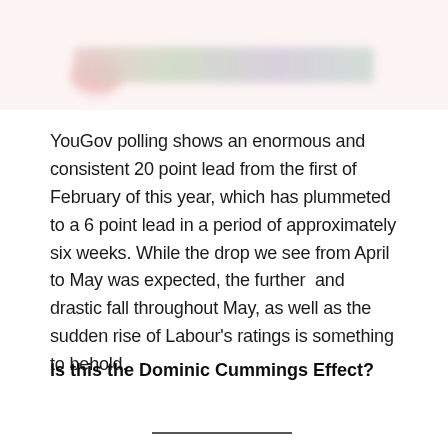[blurred header image with chart/graphic]
YouGov polling shows an enormous and consistent 20 point lead from the first of February of this year, which has plummeted to a 6 point lead in a period of approximately six weeks. While the drop we see from April to May was expected, the further  and drastic fall throughout May, as well as the sudden rise of Labour's ratings is something to behold.
Is this the Dominic Cummings Effect?